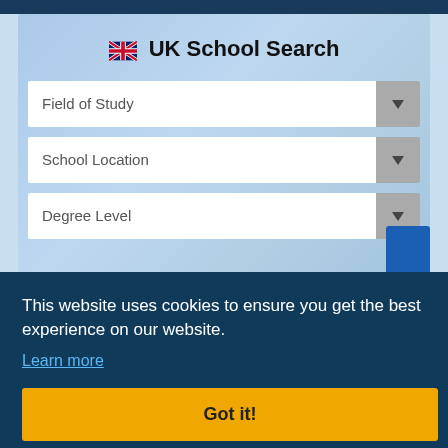🇬🇧 UK School Search
Field of Study
School Location
Degree Level
This website uses cookies to ensure you get the best experience on our website.
Learn more
Got it!
variety